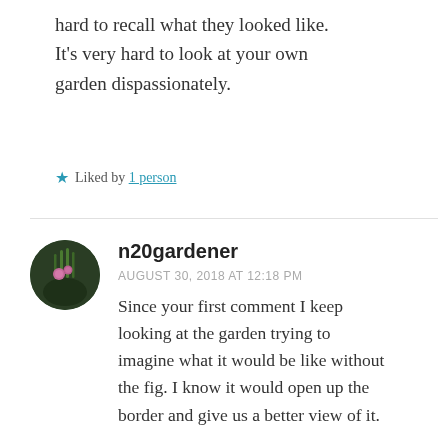hard to recall what they looked like. It's very hard to look at your own garden dispassionately.
★ Liked by 1 person
n20gardener
AUGUST 30, 2018 AT 12:18 PM
Since your first comment I keep looking at the garden trying to imagine what it would be like without the fig. I know it would open up the border and give us a better view of it.